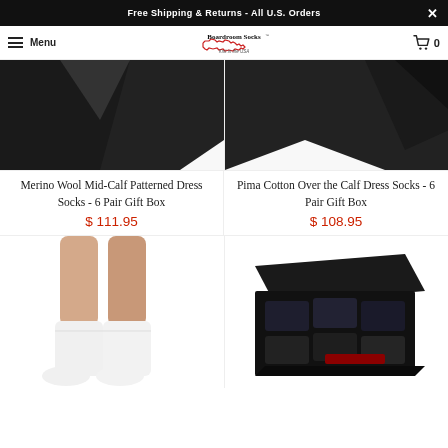Free Shipping & Returns - All U.S. Orders
[Figure (logo): Boardroom Socks logo with North Carolina state outline, Knit in the USA text]
[Figure (photo): Top portion of dark dress socks with black background, left product]
Merino Wool Mid-Calf Patterned Dress Socks - 6 Pair Gift Box
$ 111.95
[Figure (photo): Top portion of dark dress socks with black background, right product]
Pima Cotton Over the Calf Dress Socks - 6 Pair Gift Box
$ 108.95
[Figure (photo): Man's legs wearing white mid-calf socks, bottom product left]
[Figure (photo): Dark navy socks in open black gift box with Boardroom Socks branding, bottom product right]